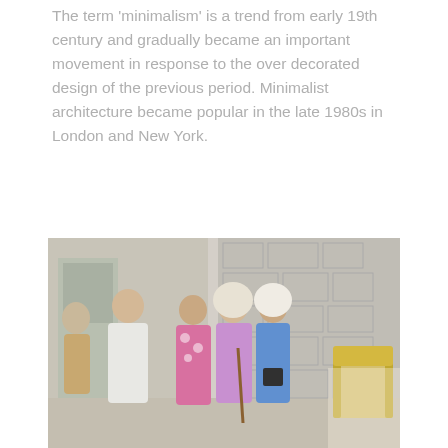The term 'minimalism' is a trend from early 19th century and gradually became an important movement in response to the over decorated design of the previous period. Minimalist architecture became popular in the late 1980s in London and New York.
[Figure (photo): A theatrical stage scene with several actors in costumes. On the left, a man in a white robe holds a cane; center stage features women in floral and blue outfits, one wearing a white hijab; a decorative chair is visible on the far right with a stone-wall backdrop.]